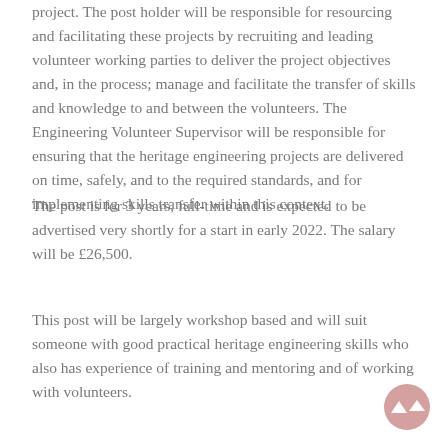project. The post holder will be responsible for resourcing and facilitating these projects by recruiting and leading volunteer working parties to deliver the project objectives and, in the process; manage and facilitate the transfer of skills and knowledge to and between the volunteers. The Engineering Volunteer Supervisor will be responsible for ensuring that the heritage engineering projects are delivered on time, safely, and to the required standards, and for implementing skills transfer within this context.
The post is for 3 years, full-time and is expected to be advertised very shortly for a start in early 2022. The salary will be £26,500.
This post will be largely workshop based and will suit someone with good practical heritage engineering skills who also has experience of training and mentoring and of working with volunteers.